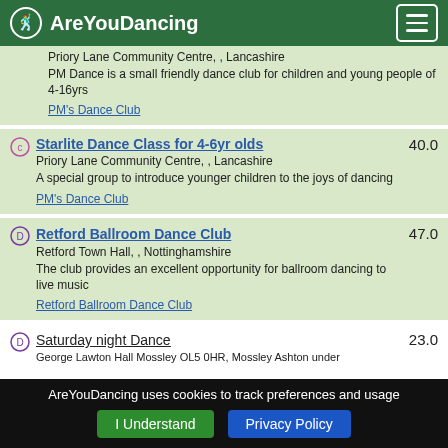AreYouDancing
Priory Lane Community Centre, , Lancashire
PM Dance is a small friendly dance club for children and young people of 4-16yrs
PM's Dance Club
Starlite Dance Class for 4-6yr olds 40.0
Priory Lane Community Centre, , Lancashire
A special group to introduce younger children to the joys of dancing
PM's Dance Club
Retford Ballroom Dance Club 47.0
Retford Town Hall, , Nottinghamshire
The club provides an excellent opportunity for ballroom dancing to live music
Retford Ballroom Dance Club
Saturday night Dance 23.0
George Lawton Hall Mossley OL5 0HR, Mossley Ashton under
AreYouDancing uses cookies to track preferences and usage